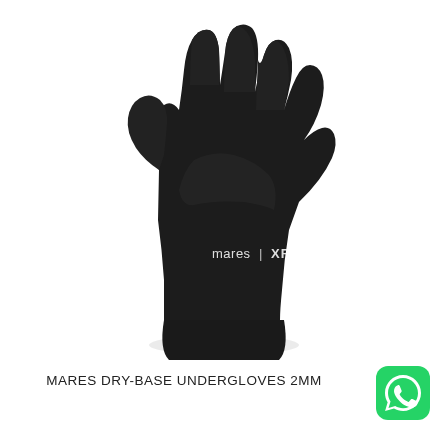[Figure (photo): Black neoprene diving glove (Mares XR brand) shown palm-side up against white background, with 'mares | XR' logo in white text on the palm area.]
MARES DRY-BASE UNDERGLOVES 2MM
[Figure (logo): WhatsApp green rounded square icon with white phone handset graphic, positioned bottom right corner.]